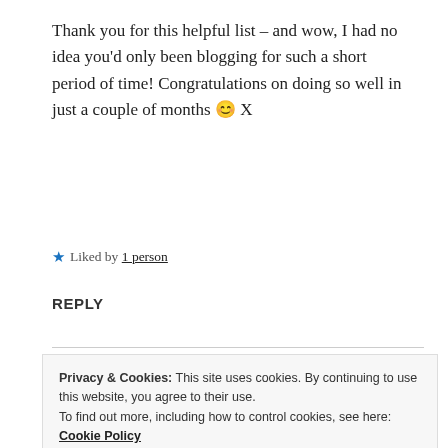Thank you for this helpful list – and wow, I had no idea you'd only been blogging for such a short period of time! Congratulations on doing so well in just a couple of months 😊 X
★ Liked by 1 person
REPLY
ZEALOUS HOMO SAPIENS
21 Apr 2019 at 9:31 pm
Privacy & Cookies: This site uses cookies. By continuing to use this website, you agree to their use. To find out more, including how to control cookies, see here: Cookie Policy
Close and accept
★ Liked by 1 person